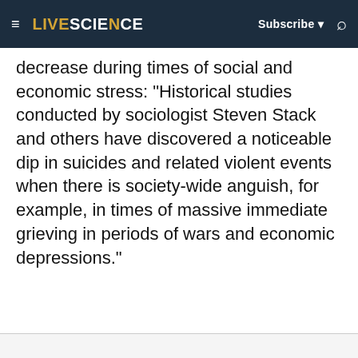LIVESCIENCE  Subscribe  🔍
decrease during times of social and economic stress: "Historical studies conducted by sociologist Steven Stack and others have discovered a noticeable dip in suicides and related violent events when there is society-wide anguish, for example, in times of massive immediate grieving in periods of wars and economic depressions."